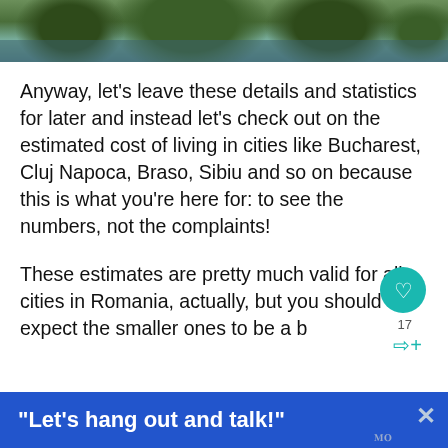[Figure (photo): Aerial or top-down photo of trees and what appears to be a pool or parking area, cropped as a strip at the top of the page.]
Anyway, let’s leave these details and statistics for later and instead let’s check out on the estimated cost of living in cities like Bucharest, Cluj Napoca, Braso, Sibiu and so on because this is what you’re here for: to see the numbers, not the complaints!
These estimates are pretty much valid for all cities in Romania, actually, but you should still expect the smaller ones to be a bit cheaper than the larger ones, especially the ones that...
“Let’s hang out and talk!”